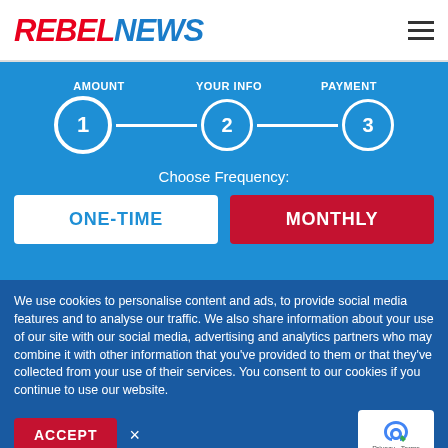[Figure (logo): Rebel News logo with REBEL in red italic and NEWS in blue italic]
[Figure (infographic): 3-step donation progress indicator: AMOUNT (step 1, active), YOUR INFO (step 2), PAYMENT (step 3) connected by lines, on blue background]
Choose Frequency:
ONE-TIME
MONTHLY
We use cookies to personalise content and ads, to provide social media features and to analyse our traffic. We also share information about your use of our site with our social media, advertising and analytics partners who may combine it with other information that you've provided to them or that they've collected from your use of their services. You consent to our cookies if you continue to use our website.
ACCEPT
[Figure (logo): reCAPTCHA badge with circular arrow logo and Privacy - Terms text]